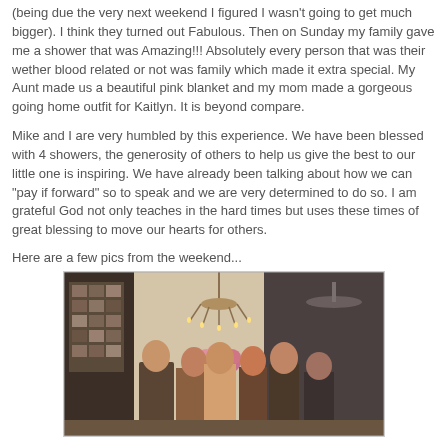(being due the very next weekend I figured I wasn't going to get much bigger). I think they turned out Fabulous. Then on Sunday my family gave me a shower that was Amazing!!! Absolutely every person that was their wether blood related or not was family which made it extra special. My Aunt made us a beautiful pink blanket and my mom made a gorgeous going home outfit for Kaitlyn. It is beyond compare.
Mike and I are very humbled by this experience. We have been blessed with 4 showers, the generosity of others to help us give the best to our little one is inspiring. We have already been talking about how we can "pay if forward" so to speak and we are very determined to do so. I am grateful God not only teaches in the hard times but uses these times of great blessing to move our hearts for others.
Here are a few pics from the weekend...
[Figure (photo): Group photo of several women standing inside a room with a chandelier centerpiece and a photo collage on the wall in the background.]